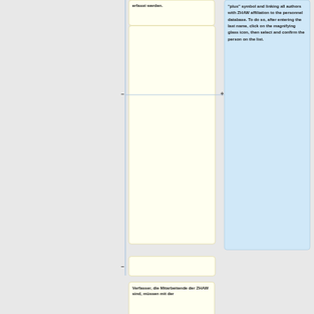erfasst werden.
"plus" symbol and linking all authors with ZHAW affiliation to the personnel database. To do so, after entering the last name, click on the magnifying glass icon, then select and confirm the person on the list.
Verfasser, die Mitarbeitende der ZHAW sind, müssen mit der